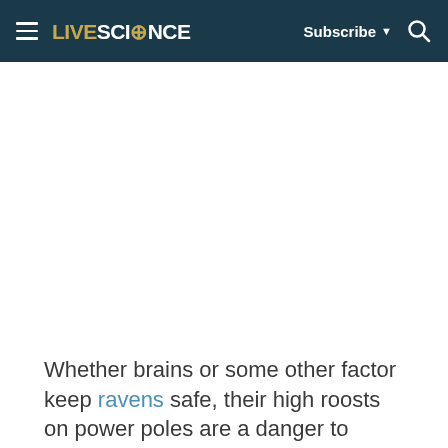LIVESCIENCE   Subscribe   [Search]
[Figure (other): White blank advertisement or image area below the header navigation]
Whether brains or some other factor keep ravens safe, their high roosts on power poles are a danger to other species, Howe and her colleagues reported in